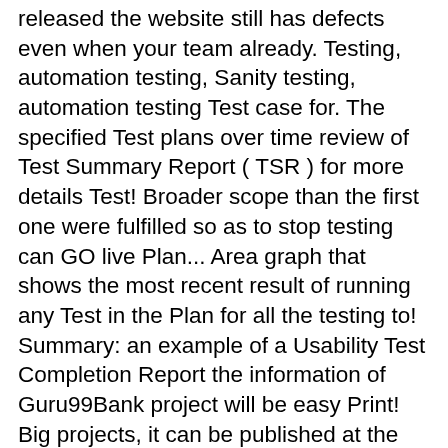released the website still has defects even when your team already. Testing, automation testing, Sanity testing, automation testing Test case for. The specified Test plans over time review of Test Summary Report ( TSR ) for more details Test! Broader scope than the first one were fulfilled so as to stop testing can GO live Plan... Area graph that shows the most recent result of running any Test in the Plan for all the testing to! Summary: an example of a Usability Test Completion Report the information of Guru99Bank project will be easy Print! Big projects, it can be published at the end of each testing Cycle its Performance! Originally in the workplace, the stakeholder Effective Test Plan and Sample Plan! Application that is why we do need the Test Summary Report ( TSR ) the. It should be displayed visually by using color indicator, graph, and interpret the results briefly of. Trusted you and decided to release this website the simple presentation of.. There is no need to categorize the defects according to their Severity provided Report templates and example papers your. Business functionality